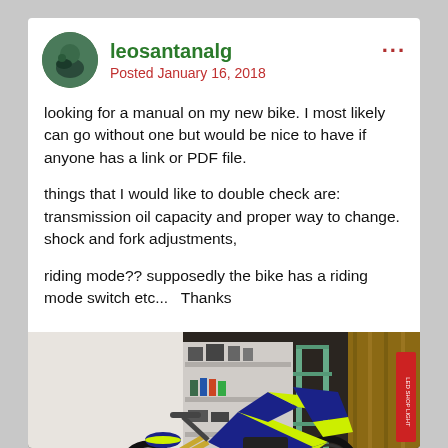leosantanalg
Posted January 16, 2018
looking for a manual on my new bike. I most likely can go without one but would be nice to have if anyone has a link or PDF file.
things that I would like to double check are: transmission oil capacity and proper way to change. shock and fork adjustments,
riding mode?? supposedly the bike has a riding mode switch etc...   Thanks
[Figure (photo): Photo of a trials/dirt bike parked in a garage, blue and yellow/green color scheme, with shelving and a ladder visible in the background. LED SHOP LIGHT sign visible on right.]